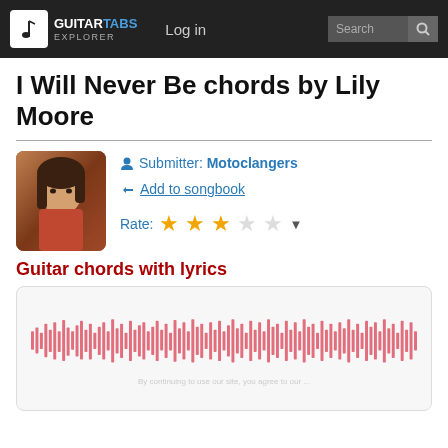GUITARTABS EXPLORER | Log in | Search
I Will Never Be chords by Lily Moore
Submitter: Motoclangers
Add to songbook
Rate: ★★★☆☆
Guitar chords with lyrics
[Figure (other): Audio waveform visualization showing red vertical bars of varying heights representing the audio content of the song]